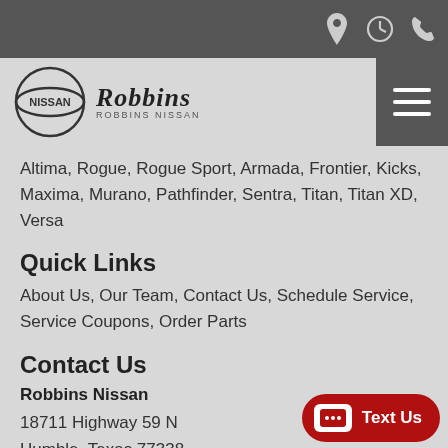Robbins Nissan header with navigation icons (location, hours, phone) and hamburger menu
[Figure (logo): Nissan logo circle and Robbins Nissan wordmark logo]
Altima, Rogue, Rogue Sport, Armada, Frontier, Kicks, Maxima, Murano, Pathfinder, Sentra, Titan, Titan XD, Versa
Quick Links
About Us, Our Team, Contact Us, Schedule Service, Service Coupons, Order Parts
Contact Us
Robbins Nissan
18711 Highway 59 N
Humble, Texas 77338